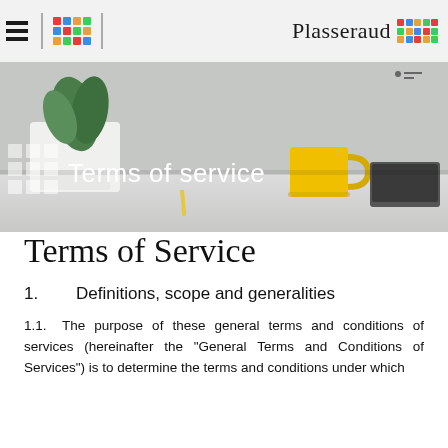Plasseraud
[Figure (screenshot): Hero banner image showing a desk with a white plant pot, yellow coffee mug, and a laptop, with 'Terms of service' text overlay and decorative white square grid on the left side.]
Terms of Service
1.    Definitions, scope and generalities
1.1.    The purpose of these general terms and conditions of services (hereinafter the "General Terms and Conditions of Services") is to determine the terms and conditions under which